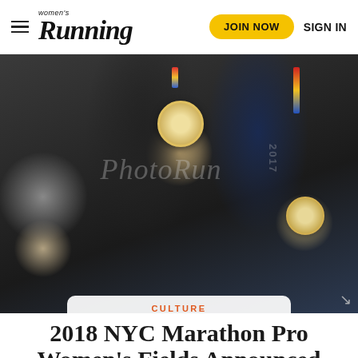Women's Running — JOIN NOW   SIGN IN
[Figure (photo): Three runners in dark jackets holding up marathon medals with colorful ribbons. A watermark reading 'PhotoRun' and '2017' is visible.]
CULTURE
2018 NYC Marathon Pro Women's Fields Announced